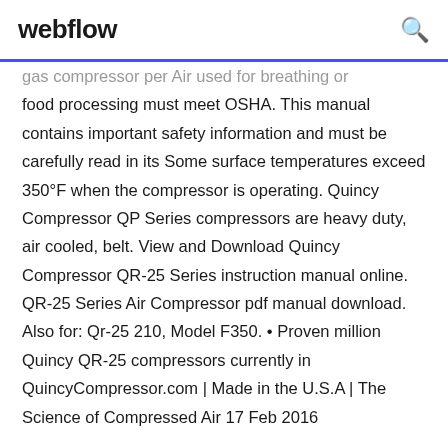webflow
gas compressor per Air used for breathing or food processing must meet OSHA. This manual contains important safety information and must be carefully read in its Some surface temperatures exceed 350°F when the compressor is operating. Quincy Compressor QP Series compressors are heavy duty, air cooled, belt. View and Download Quincy Compressor QR-25 Series instruction manual online. QR-25 Series Air Compressor pdf manual download. Also for: Qr-25 210, Model F350. • Proven million Quincy QR-25 compressors currently in QuincyCompressor.com | Made in the U.S.A | The Science of Compressed Air  17 Feb 2016